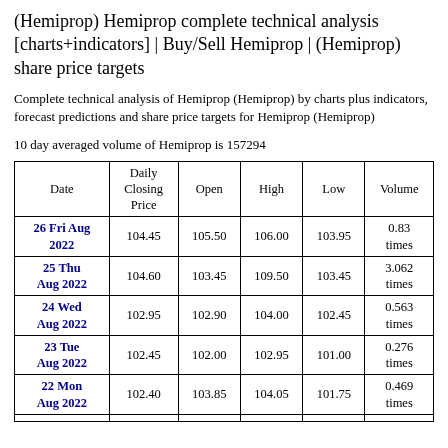(Hemiprop) Hemiprop complete technical analysis [charts+indicators] | Buy/Sell Hemiprop | (Hemiprop) share price targets
Complete technical analysis of Hemiprop (Hemiprop) by charts plus indicators, forecast predictions and share price targets for Hemiprop (Hemiprop)
10 day averaged volume of Hemiprop is 157294
| Date | Daily Closing Price | Open | High | Low | Volume |
| --- | --- | --- | --- | --- | --- |
| 26 Fri Aug 2022 | 104.45 | 105.50 | 106.00 | 103.95 | 0.83 times |
| 25 Thu Aug 2022 | 104.60 | 103.45 | 109.50 | 103.45 | 3.062 times |
| 24 Wed Aug 2022 | 102.95 | 102.90 | 104.00 | 102.45 | 0.563 times |
| 23 Tue Aug 2022 | 102.45 | 102.00 | 102.95 | 101.00 | 0.276 times |
| 22 Mon Aug 2022 | 102.40 | 103.85 | 104.05 | 101.75 | 0.469 times |